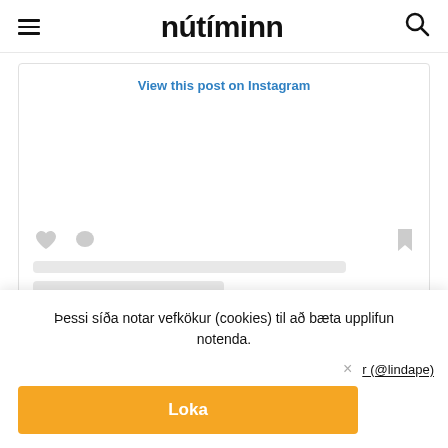nútíminn
View this post on Instagram
[Figure (screenshot): Instagram embed placeholder showing heart, comment, bookmark icons and two grey loading bars for text content]
Þessi síða notar vefkökur (cookies) til að bæta upplifun notenda.
r (@lindape)
Loka